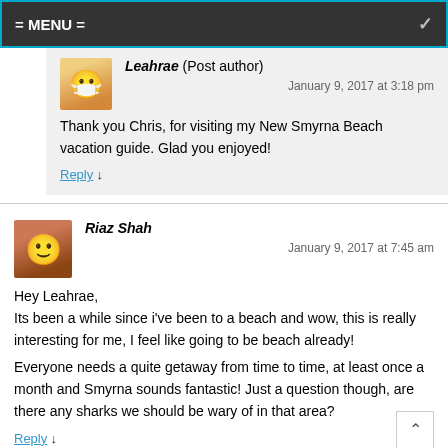= MENU =
Leahrae (Post author)
January 9, 2017 at 3:18 pm
Thank you Chris, for visiting my New Smyrna Beach vacation guide. Glad you enjoyed!
Reply ↓
Riaz Shah
January 9, 2017 at 7:45 am
Hey Leahrae,
Its been a while since i've been to a beach and wow, this is really interesting for me, I feel like going to be beach already!
Everyone needs a quite getaway from time to time, at least once a month and Smyrna sounds fantastic! Just a question though, are there any sharks we should be wary of in that area?
Reply ↓